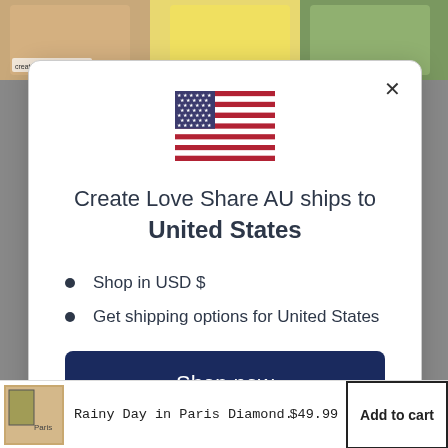[Figure (screenshot): Background showing product images at top]
Create Love Share AU ships to United States
Shop in USD $
Get shipping options for United States
Shop now
Change shipping country
Rainy Day in Paris Diamond…  $49.99  Add to cart